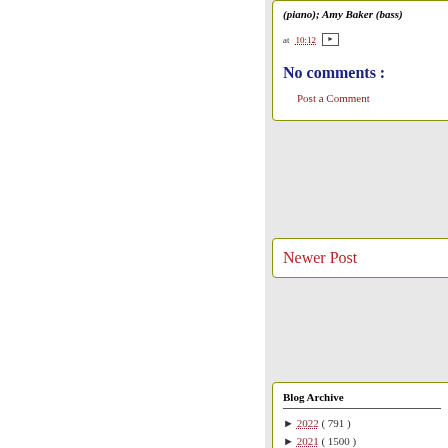(piano); Amy Baker (bass)
at 10:12
No comments :
Post a Comment
Newer Post
Blog Archive
► 2022 ( 791 )
► 2021 ( 1500 )